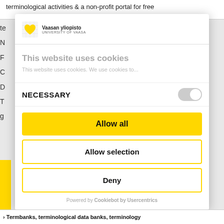terminological activities & a non-profit portal for free
[Figure (logo): Vaasan yliopisto / University of Vaasa logo with yellow heart shape]
This website uses cookies
This website uses cookies. We use cookies to...
NECESSARY
Allow all
Allow selection
Deny
Powered by Cookiebot by Usercentrics
> Termbanks, terminological data banks, terminology